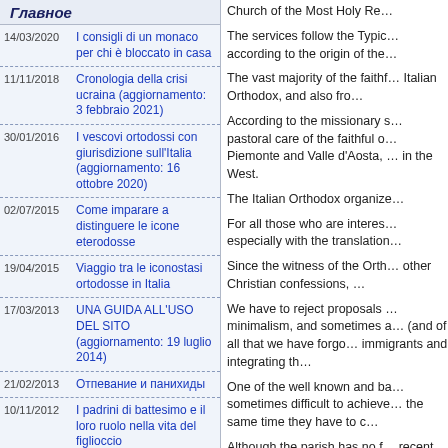Главное
14/03/2020 — I consigli di un monaco per chi è bloccato in casa
11/11/2018 — Cronologia della crisi ucraina (aggiornamento: 3 febbraio 2021)
30/01/2016 — I vescovi ortodossi con giurisdizione sull'Italia (aggiornamento: 16 ottobre 2020)
02/07/2015 — Come imparare a distinguere le icone eterodosse
19/04/2015 — Viaggio tra le iconostasi ortodosse in Italia
17/03/2013 — UNA GUIDA ALL'USO DEL SITO (aggiornamento: 19 luglio 2014)
21/02/2013 — Отпевание и панихиды
10/11/2012 — I padrini di battesimo e il loro ruolo nella vita del figlioccio
31/08/2012 — I nostri iconografi: Iurie
Church of the Most Holy Re…
The services follow the Typic… according to the origin of the…
The vast majority of the faithf… Italian Orthodox, and also fro…
According to the missionary s… pastoral care of the faithful o… Piemonte and Valle d'Aosta, … in the West.
The Italian Orthodox organize…
For all those who are interes… especially with the translation…
Since the witness of the Orth… other Christian confessions, …
We have to reject proposals … minimalism, and sometimes a… (and of all that we have forgo… immigrants and integrating th…
One of the well known and ba… sometimes difficult to achieve… the same time they have to c…
Although the parish has no f… recent Orthodox immigrants …